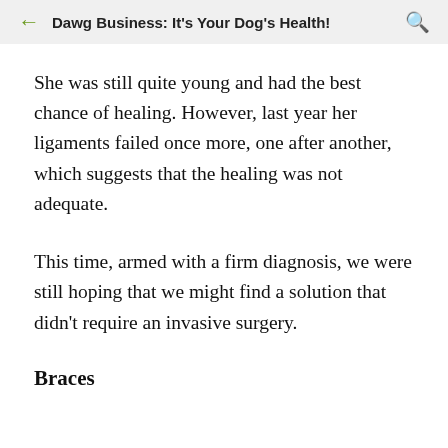Dawg Business: It's Your Dog's Health!
She was still quite young and had the best chance of healing. However, last year her ligaments failed once more, one after another, which suggests that the healing was not adequate.
This time, armed with a firm diagnosis, we were still hoping that we might find a solution that didn't require an invasive surgery.
Braces